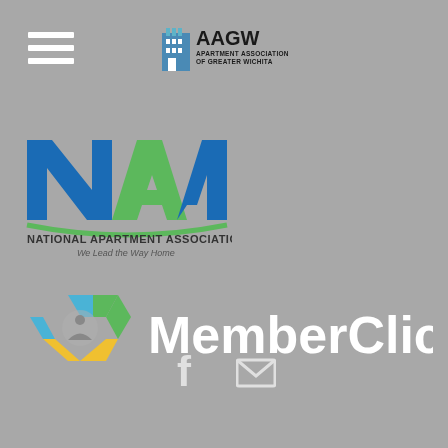[Figure (logo): Hamburger menu icon (three horizontal lines) in top left corner]
[Figure (logo): AAGW - Apartment Association of Greater Wichita logo in top center]
[Figure (logo): NAA - National Apartment Association logo with tagline 'We Lead the Way Home']
[Figure (logo): MemberClicks logo with colorful hexagon icon and white text]
[Figure (logo): Facebook icon and email/envelope icon at bottom center]